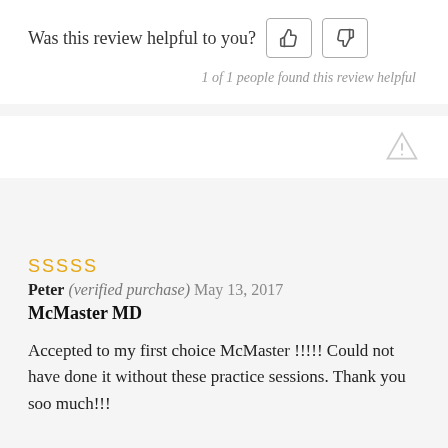Was this review helpful to you?
1 of 1 people found this review helpful
SSSSS
Peter (verified purchase) May 13, 2017
McMaster MD
Accepted to my first choice McMaster !!!!! Could not have done it without these practice sessions. Thank you soo much!!!